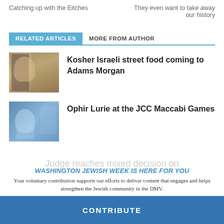Catching up with the Eitches	They even want to take away our history
RELATED ARTICLES	MORE FROM AUTHOR
[Figure (photo): Thumbnail photo of a woman in a food stall]
Kosher Israeli street food coming to Adams Morgan
[Figure (photo): Thumbnail photo related to JCC Maccabi Games]
Ophir Lurie at the JCC Maccabi Games
WASHINGTON JEWISH WEEK IS HERE FOR YOU
Your voluntary contribution supports our efforts to deliver content that engages and helps strengthen the Jewish community in the DMV.
Judge reaches mixed decision on
CONTRIBUTE